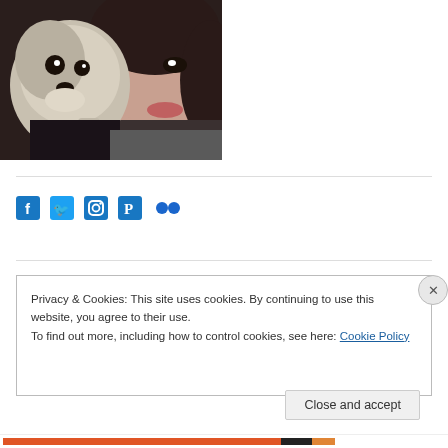[Figure (photo): A woman taking a selfie with a small fluffy dog (Shih Tzu) wearing a black outfit with a bone-shaped tag. The photo is cropped showing their faces close together.]
[Figure (infographic): Social media icons row: Facebook, Twitter, Instagram, Pinterest, Flickr — all in blue]
Privacy & Cookies: This site uses cookies. By continuing to use this website, you agree to their use.
To find out more, including how to control cookies, see here: Cookie Policy
Close and accept